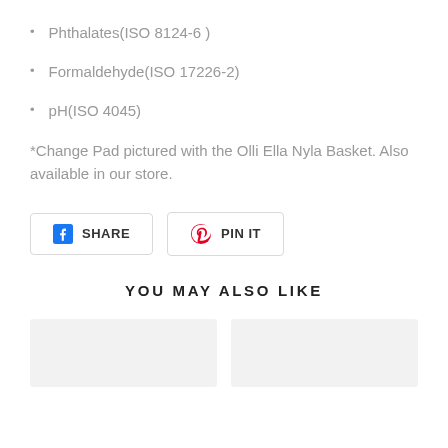Phthalates(ISO 8124-6 )
Formaldehyde(ISO 17226-2)
pH(ISO 4045)
*Change Pad pictured with the Olli Ella Nyla Basket. Also available in our store.
[Figure (infographic): Facebook Share button and Pinterest Pin It button]
YOU MAY ALSO LIKE
[Figure (photo): Two product thumbnail placeholder boxes (light gray)]